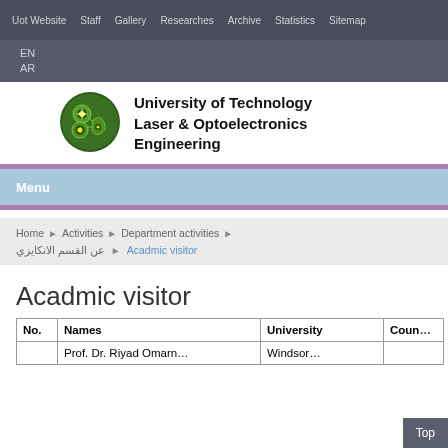Uot Website  Staff  Gallery  Researches  Archive  Statistics  Sitemap
EN
AR
[Figure (logo): University of Technology Laser & Optoelectronics Engineering circular logo — green background with laser optics icons in yellow]
University of Technology Laser & Optoelectronics Engineering
Menu
Home ▶ Activities ▶ Department activities ▶ عن القسم الانكايزي ▶ Acadmic visitor
Acadmic visitor
| No. | Names | University | Coun… |
| --- | --- | --- | --- |
|  | Prof. Dr. Riyad Omarn… | Windsor… |  |